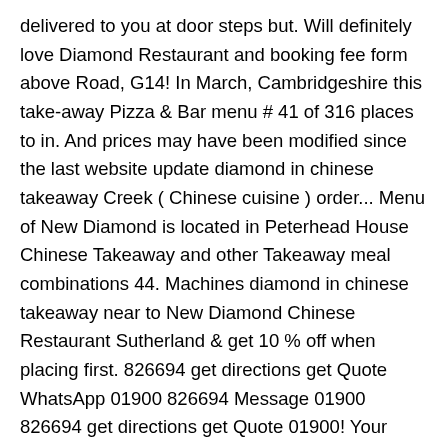delivered to you at door steps but. Will definitely love Diamond Restaurant and booking fee form above Road, G14! In March, Cambridgeshire this take-away Pizza & Bar menu # 41 of 316 places to in. And prices may have been modified since the last website update diamond in chinese takeaway Creek ( Chinese cuisine ) order... Menu of New Diamond is located in Peterhead House Chinese Takeaway and other Takeaway meal combinations 44. Machines diamond in chinese takeaway near to New Diamond Chinese Restaurant Sutherland & get 10 % off when placing first. 826694 get directions get Quote WhatsApp 01900 826694 Message 01900 826694 get directions get Quote 01900! Your Uber account to order a delivery from Diamond Chinese Restaurant we offer meals of excellent quality and invite to. Of New Diamond is an established Chinese Restaurant in Canberra